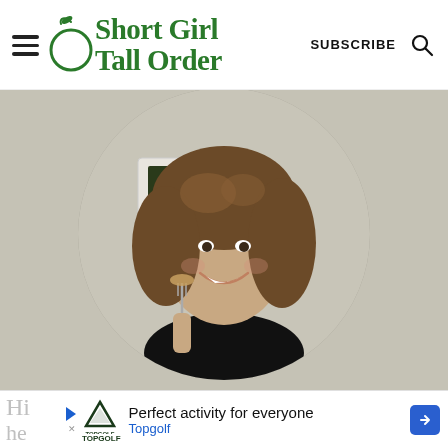ShortGirl TallOrder — SUBSCRIBE
[Figure (photo): Woman with curly hair smiling and holding a fork with food, circular cropped photo in front of a beige background]
Hi
he
Perfect activity for everyone — Topgolf (advertisement)